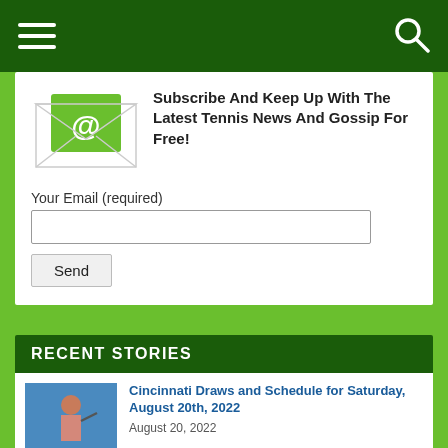Navigation bar with hamburger menu and search icon
[Figure (illustration): Email envelope illustration with green @ symbol card inside a white envelope]
Subscribe And Keep Up With The Latest Tennis News And Gossip For Free!
Your Email (required)
Send
RECENT STORIES
Cincinnati Draws and Schedule for Saturday, August 20th, 2022
August 20, 2022
US Open Prize Money Will Top $60 Million for the First Time